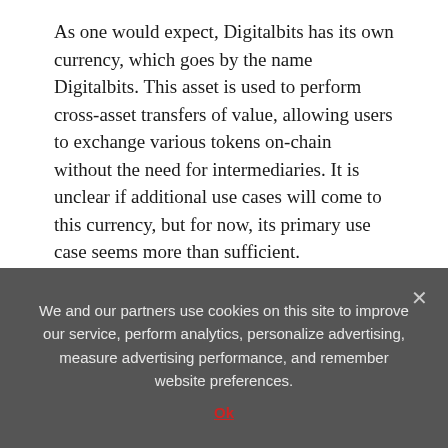As one would expect, Digitalbits has its own currency, which goes by the name Digitalbits. This asset is used to perform cross-asset transfers of value, allowing users to exchange various tokens on-chain without the need for intermediaries. It is unclear if additional use cases will come to this currency, but for now, its primary use case seems more than sufficient.
The Road Ahead
There doesn't appear to be any official roadmap for Digitalbits right now. With the developers working hard on building their blockchain infrastructure, it is evident that more news will be announced once there is something
We and our partners use cookies on this site to improve our service, perform analytics, personalize advertising, measure advertising performance, and remember website preferences.
Ok